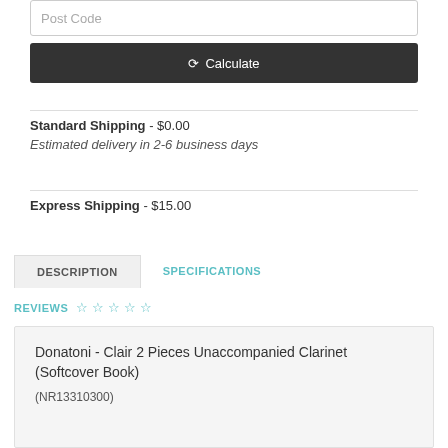Post Code
Calculate
Standard Shipping - $0.00
Estimated delivery in 2-6 business days
Express Shipping - $15.00
DESCRIPTION
SPECIFICATIONS
REVIEWS ☆ ☆ ☆ ☆ ☆
Donatoni - Clair 2 Pieces Unaccompanied Clarinet (Softcover Book)
(NR13310300)